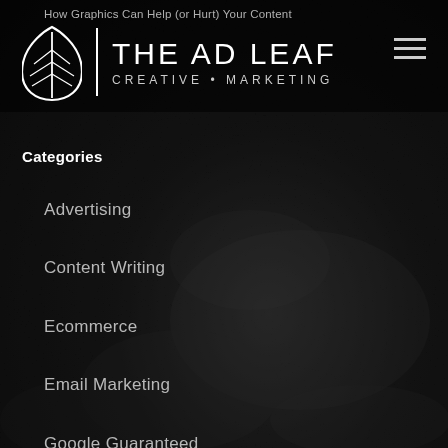How Graphics Can Help (or Hurt) Your Content
[Figure (logo): The Ad Leaf Creative Marketing logo with white leaf icon, vertical divider, and text 'THE AD LEAF / CREATIVE • MARKETING']
Categories
Advertising
Content Writing
Ecommerce
Email Marketing
Google Guaranteed